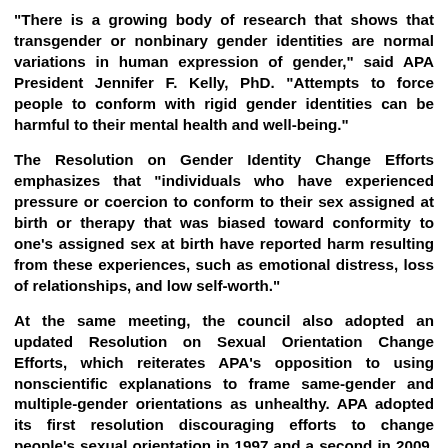"There is a growing body of research that shows that transgender or nonbinary gender identities are normal variations in human expression of gender," said APA President Jennifer F. Kelly, PhD. "Attempts to force people to conform with rigid gender identities can be harmful to their mental health and well-being."
The Resolution on Gender Identity Change Efforts emphasizes that "individuals who have experienced pressure or coercion to conform to their sex assigned at birth or therapy that was biased toward conformity to one's assigned sex at birth have reported harm resulting from these experiences, such as emotional distress, loss of relationships, and low self-worth."
At the same meeting, the council also adopted an updated Resolution on Sexual Orientation Change Efforts, which reiterates APA's opposition to using nonscientific explanations to frame same-gender and multiple-gender orientations as unhealthy. APA adopted its first resolution discouraging efforts to change people's sexual orientation in 1997 and a second in 2009, when it also issued a task force report with a systematic review of research on the topic.